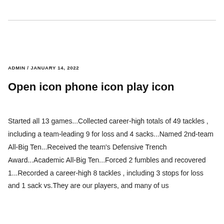ADMIN / JANUARY 14, 2022
Open icon phone icon play icon
Started all 13 games...Collected career-high totals of 49 tackles , including a team-leading 9 for loss and 4 sacks...Named 2nd-team All-Big Ten...Received the team's Defensive Trench Award...Academic All-Big Ten...Forced 2 fumbles and recovered 1...Recorded a career-high 8 tackles , including 3 stops for loss and 1 sack vs.They are our players, and many of us